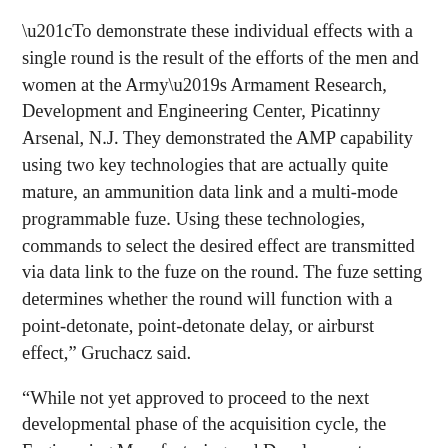“To demonstrate these individual effects with a single round is the result of the efforts of the men and women at the Army’s Armament Research, Development and Engineering Center, Picatinny Arsenal, N.J. They demonstrated the AMP capability using two key technologies that are actually quite mature, an ammunition data link and a multi-mode programmable fuze. Using these technologies, commands to select the desired effect are transmitted via data link to the fuze on the round. The fuze setting determines whether the round will function with a point-detonate, point-detonate delay, or airburst effect,” Gruchacz said.
“While not yet approved to proceed to the next developmental phase of the acquisition cycle, the Engineering Manufacturing and Development or EMD, phase, the AMP capability has been successfully tested